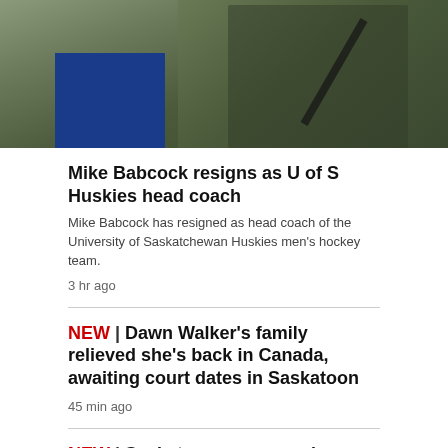[Figure (photo): Hockey player in dark jacket holding a stick, with green and blue background]
Mike Babcock resigns as U of S Huskies head coach
Mike Babcock has resigned as head coach of the University of Saskatchewan Huskies men's hockey team.
3 hr ago
NEW | Dawn Walker's family relieved she's back in Canada, awaiting court dates in Saskatoon
45 min ago
NEW | Saskatoon mom warning parents to beware of underage teens ordering alcohol through delivery services
31 min ago